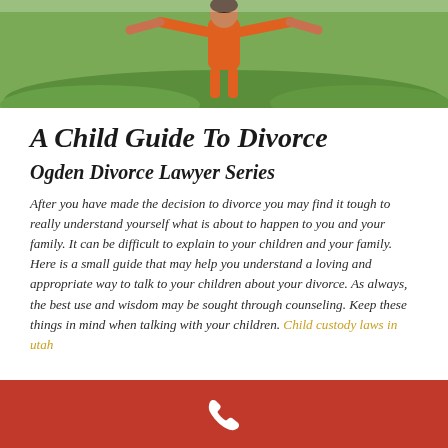[Figure (photo): A child in an orange shirt with arms spread wide, standing on green grass.]
A Child Guide To Divorce
Ogden Divorce Lawyer Series
After you have made the decision to divorce you may find it tough to really understand yourself what is about to happen to you and your family. It can be difficult to explain to your children and your family. Here is a small guide that may help you understand a loving and appropriate way to talk to your children about your divorce. As always, the best use and wisdom may be sought through counseling. Keep these things in mind when talking with your children. Child custody laws in utah
[Figure (illustration): Red footer bar with a white telephone/phone handset icon centered.]